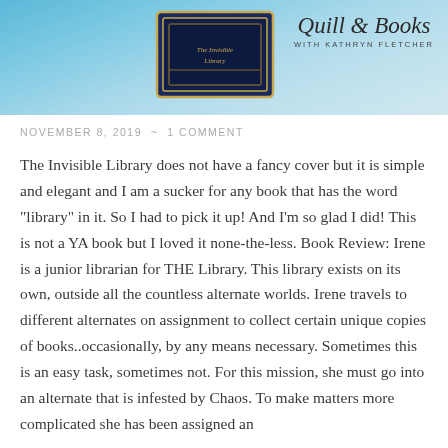[Figure (illustration): Blog header banner image with blue background, a decorative book cover in the center, and stylized text reading 'Quill & Books with Kathryn Fletcher' on the right side]
NOVEMBER 8, 2019 ~ 1 COMMENT
The Invisible Library does not have a fancy cover but it is simple and elegant and I am a sucker for any book that has the word "library" in it. So I had to pick it up! And I'm so glad I did! This is not a YA book but I loved it none-the-less. Book Review: Irene is a junior librarian for THE Library. This library exists on its own, outside all the countless alternate worlds. Irene travels to different alternates on assignment to collect certain unique copies of books..occasionally, by any means necessary. Sometimes this is an easy task, sometimes not. For this mission, she must go into an alternate that is infested by Chaos. To make matters more complicated she has been assigned an